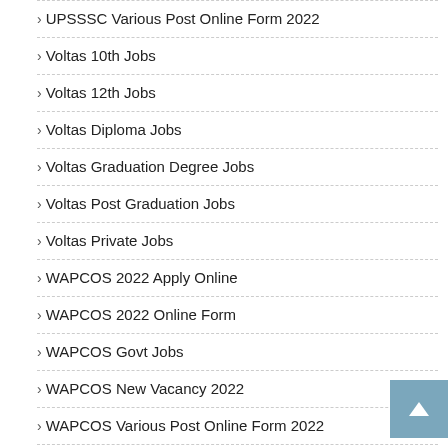UPSSSC Various Post Online Form 2022
Voltas 10th Jobs
Voltas 12th Jobs
Voltas Diploma Jobs
Voltas Graduation Degree Jobs
Voltas Post Graduation Jobs
Voltas Private Jobs
WAPCOS 2022 Apply Online
WAPCOS 2022 Online Form
WAPCOS Govt Jobs
WAPCOS New Vacancy 2022
WAPCOS Various Post Online Form 2022
WBPDCL 2022 Apply Online
WBPDCL 2022 Online Form